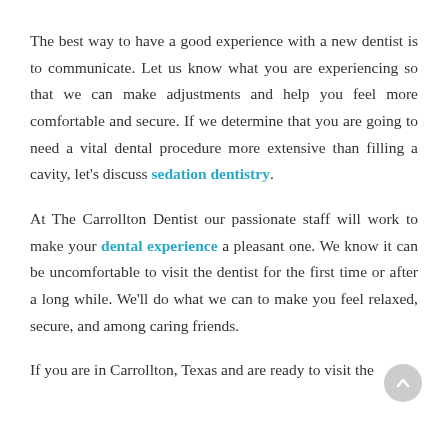The best way to have a good experience with a new dentist is to communicate. Let us know what you are experiencing so that we can make adjustments and help you feel more comfortable and secure. If we determine that you are going to need a vital dental procedure more extensive than filling a cavity, let's discuss sedation dentistry.
At The Carrollton Dentist our passionate staff will work to make your dental experience a pleasant one. We know it can be uncomfortable to visit the dentist for the first time or after a long while. We'll do what we can to make you feel relaxed, secure, and among caring friends.
If you are in Carrollton, Texas and are ready to visit the